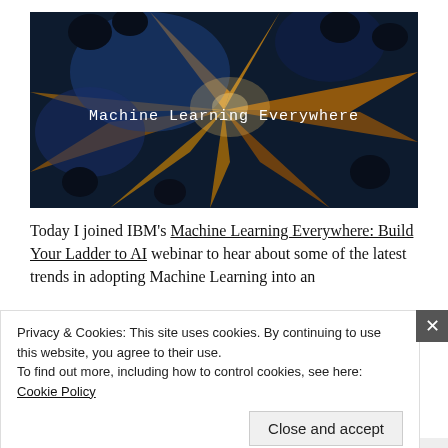[Figure (photo): Aerial night-time view of a city intersection with blue and orange lights radiating outward, with overlaid monospace text reading 'Machine Learning Everywhere']
Today I joined IBM's Machine Learning Everywhere: Build Your Ladder to AI webinar to hear about some of the latest trends in adopting Machine Learning into an
Privacy & Cookies: This site uses cookies. By continuing to use this website, you agree to their use.
To find out more, including how to control cookies, see here: Cookie Policy
Close and accept